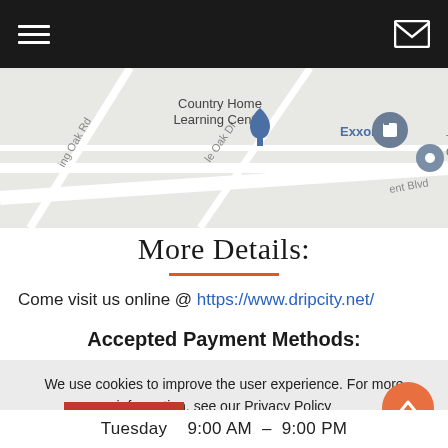Navigation bar with hamburger menu and mail icon
[Figure (map): Google Maps screenshot showing Country Home Learning Center, Exxon gas station, roads including King Oak Rd and Oak Dr, Blvd street]
More Details:
Come visit us online @ https://www.dripcity.net/
Accepted Payment Methods:
We use cookies to improve the user experience. For more information, see our Privacy Policy
OK
Tuesday   9:00 AM  –  9:00 PM